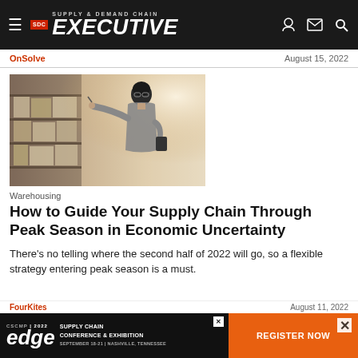Supply & Demand Chain Executive
OnSolve | August 15, 2022
[Figure (photo): A man in a grey shirt checking inventory on warehouse shelves with a tablet, viewed from the side in a distribution center with blurred shelving in the background.]
Warehousing
How to Guide Your Supply Chain Through Peak Season in Economic Uncertainty
There's no telling where the second half of 2022 will go, so a flexible strategy entering peak season is a must.
FourKites | August 11, 2022